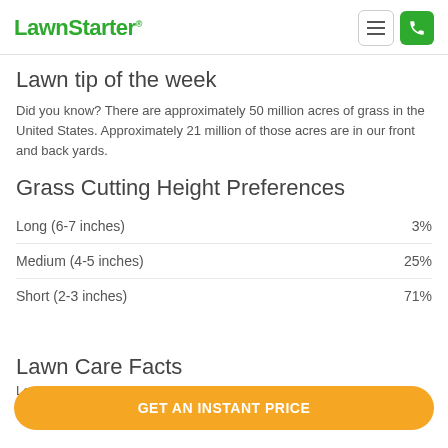LawnStarter
Lawn tip of the week
Did you know? There are approximately 50 million acres of grass in the United States. Approximately 21 million of those acres are in our front and back yards.
Grass Cutting Height Preferences
| Category | Percentage |
| --- | --- |
| Long (6-7 inches) | 3% |
| Medium (4-5 inches) | 25% |
| Short (2-3 inches) | 71% |
Lawn Care Facts
Le
GET AN INSTANT PRICE